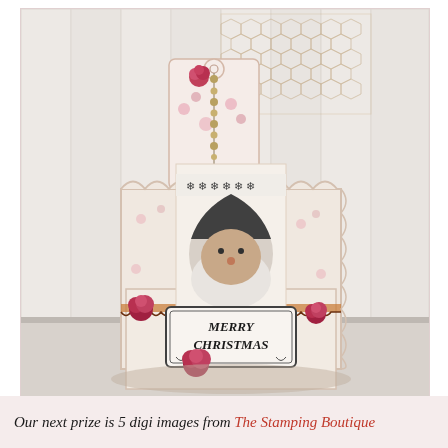[Figure (photo): A shabby chic Christmas craft project: a decorative wooden box/holder with floral pink patterned paper, containing a candle stamped with Santa Claus image and snowflakes. The box has a 'Merry Christmas' label on the front, decorated with deep pink/magenta roses, gold beads, and chicken wire netting mesh at the top. A decorative gift tag with pink roses sticks out from the top. The box sits on a white surface against a white wood plank background.]
Our next prize is 5 digi images from The Stamping Boutique